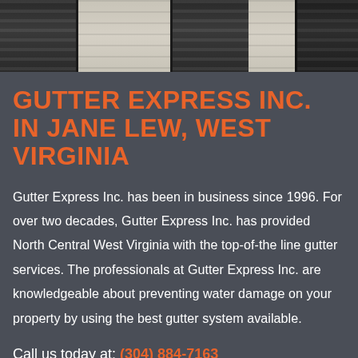[Figure (photo): Photo of house exterior showing dark shutters and beige/tan vinyl siding, viewed from below]
GUTTER EXPRESS INC. IN JANE LEW, WEST VIRGINIA
Gutter Express Inc. has been in business since 1996. For over two decades, Gutter Express Inc. has provided North Central West Virginia with the top-of-the line gutter services. The professionals at Gutter Express Inc. are knowledgeable about preventing water damage on your property by using the best gutter system available.
Call us today at: (304) 884-7163